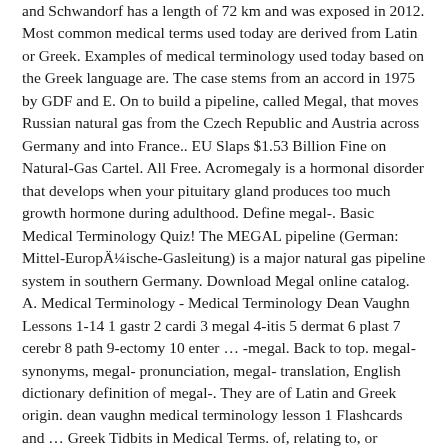and Schwandorf has a length of 72 km and was exposed in 2012. Most common medical terms used today are derived from Latin or Greek. Examples of medical terminology used today based on the Greek language are. The case stems from an accord in 1975 by GDF and E. On to build a pipeline, called Megal, that moves Russian natural gas from the Czech Republic and Austria across Germany and into France.. EU Slaps $1.53 Billion Fine on Natural-Gas Cartel. All Free. Acromegaly is a hormonal disorder that develops when your pituitary gland produces too much growth hormone during adulthood. Define megal-. Basic Medical Terminology Quiz! The MEGAL pipeline (German: Mittel-Europäische-Gasleitung) is a major natural gas pipeline system in southern Germany. Download Megal online catalog. A. Medical Terminology - Medical Terminology Dean Vaughn Lessons 1-14 1 gastr 2 cardi 3 megal 4-itis 5 dermat 6 plast 7 cerebr 8 path 9-ectomy 10 enter … -megal. Back to top. megal- synonyms, megal- pronunciation, megal- translation, English dictionary definition of megal-. They are of Latin and Greek origin. dean vaughn medical terminology lesson 1 Flashcards and … Greek Tidbits in Medical Terms. of, relating to, or concerned with physicians or the practice of medicine; requiring or devoted to medical treatmentâS See the full definition These pages include full terms, prefixes, suffixes, and root words. Meaning. Study Flashcards On Medical Terminology